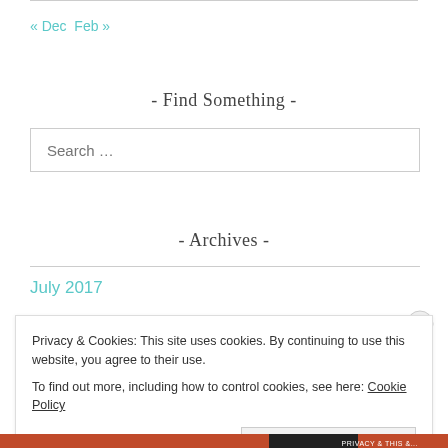« Dec  Feb »
- Find Something -
Search …
- Archives -
July 2017
Privacy & Cookies: This site uses cookies. By continuing to use this website, you agree to their use. To find out more, including how to control cookies, see here: Cookie Policy
Close and accept